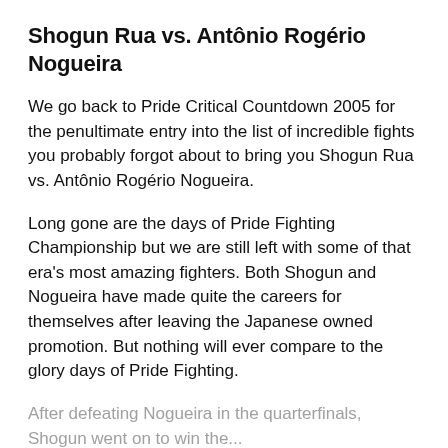Shogun Rua vs. Antônio Rogério Nogueira
We go back to Pride Critical Countdown 2005 for the penultimate entry into the list of incredible fights you probably forgot about to bring you Shogun Rua vs. Antônio Rogério Nogueira.
Long gone are the days of Pride Fighting Championship but we are still left with some of that era's most amazing fighters. Both Shogun and Nogueira have made quite the careers for themselves after leaving the Japanese owned promotion. But nothing will ever compare to the glory days of Pride Fighting.
After defeating Nogueira in the quarterfinals, Shogun went on to win the...